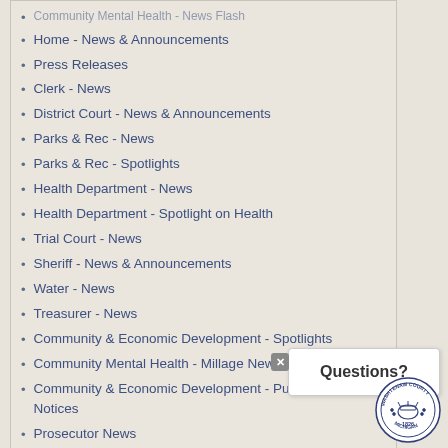Community Mental Health - News Flash
Home - News & Announcements
Press Releases
Clerk - News
District Court - News & Announcements
Parks & Rec - News
Parks & Rec - Spotlights
Health Department - News
Health Department - Spotlight on Health
Trial Court - News
Sheriff - News & Announcements
Water - News
Treasurer - News
Community & Economic Development - Spotlights
Community Mental Health - Millage News
Community & Economic Development - Public Notices
Prosecutor News